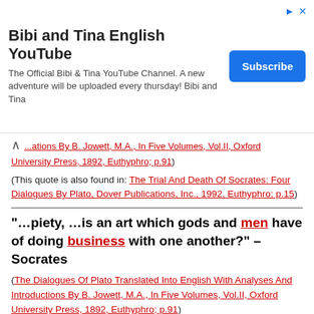[Figure (other): Advertisement banner for Bibi and Tina English YouTube channel with Subscribe button]
...ations By B. Jowett, M.A., In Five Volumes, Vol.II, Oxford University Press, 1892, Euthyphro; p.91)
(This quote is also found in: The Trial And Death Of Socrates: Four Dialogues By Plato, Dover Publications, Inc., 1992, Euthyphro; p.15)
“…piety, …is an art which gods and men have of doing business with one another?” – Socrates
(The Dialogues Of Plato Translated Into English With Analyses And Introductions By B. Jowett, M.A., In Five Volumes, Vol.II, Oxford University Press, 1892, Euthyphro; p.91)